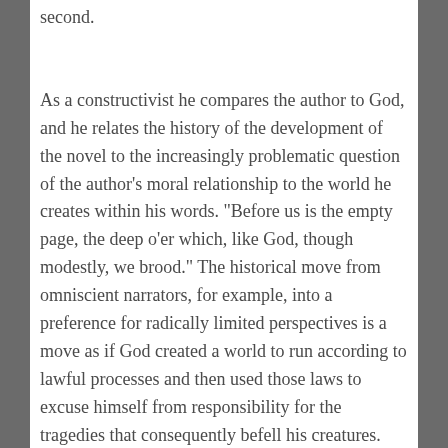second.
As a constructivist he compares the author to God, and he relates the history of the development of the novel to the increasingly problematic question of the author's moral relationship to the world he creates within his words. "Before us is the empty page, the deep o'er which, like God, though modestly, we brood." The historical move from omniscient narrators, for example, into a preference for radically limited perspectives is a move as if God created a world to run according to lawful processes and then used those laws to excuse himself from responsibility for the tragedies that consequently befell his creatures. "Novels in which the novelist has effaced himself create